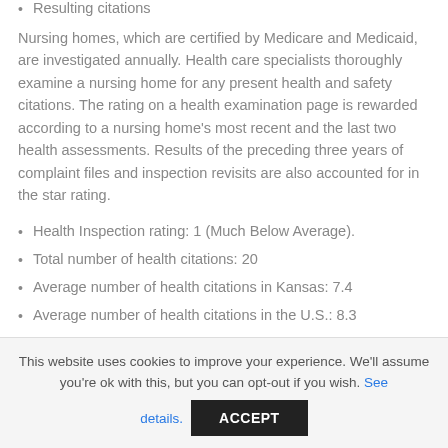Resulting citations
Nursing homes, which are certified by Medicare and Medicaid, are investigated annually. Health care specialists thoroughly examine a nursing home for any present health and safety citations. The rating on a health examination page is rewarded according to a nursing home's most recent and the last two health assessments. Results of the preceding three years of complaint files and inspection revisits are also accounted for in the star rating.
Health Inspection rating: 1 (Much Below Average).
Total number of health citations: 20
Average number of health citations in Kansas: 7.4
Average number of health citations in the U.S.: 8.3
Fire safety inspections
This website uses cookies to improve your experience. We'll assume you're ok with this, but you can opt-out if you wish. See details.